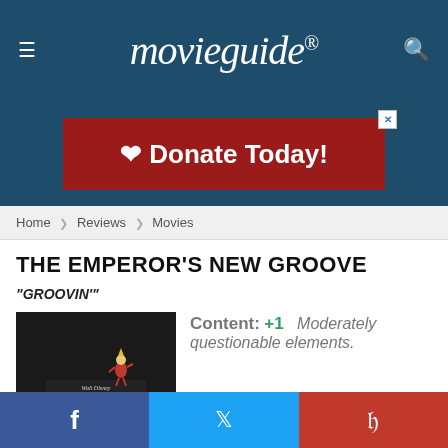Movieguide®
[Figure (other): Red donation banner advertisement with heart icon reading 'Donate Today!']
Home > Reviews > Movies
THE EMPEROR'S NEW GROOVE
"GROOVIN'"
[Figure (photo): Movie poster thumbnail for The Emperor's New Groove showing a character figure on a black base with Walt Disney Pictures text]
Content: +1 Moderately questionable elements.
Facebook | Twitter | Pinterest social sharing buttons